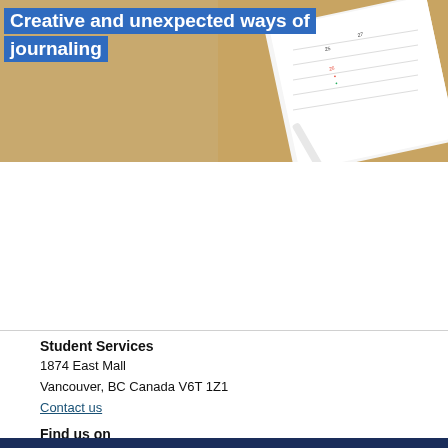[Figure (photo): Photo of a journal/planner notebook with a pen on a wooden desk, with blue overlay text reading 'Creative and unexpected ways of journaling']
Student Services
1874 East Mall
Vancouver, BC Canada V6T 1Z1
Contact us
Find us on
[Figure (logo): Twitter and Instagram social media icons in dark blue squares]
Website feedback
Back to top ∧